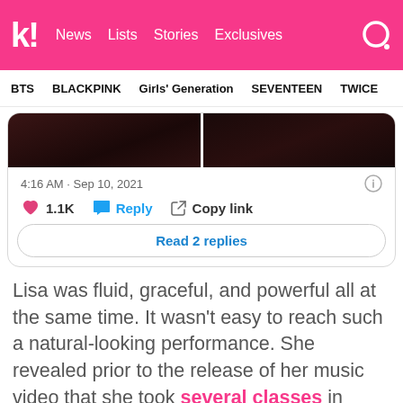k! News Lists Stories Exclusives
BTS BLACKPINK Girls' Generation SEVENTEEN TWICE
[Figure (screenshot): Two side-by-side dark cropped images from a music video, showing red and black tones]
4:16 AM · Sep 10, 2021
1.1K  Reply  Copy link
Read 2 replies
Lisa was fluid, graceful, and powerful all at the same time. It wasn't easy to reach such a natural-looking performance. She revealed prior to the release of her music video that she took several classes in preparation.
[Figure (photo): Bottom partial image, dark tones, partial view of a performance scene]